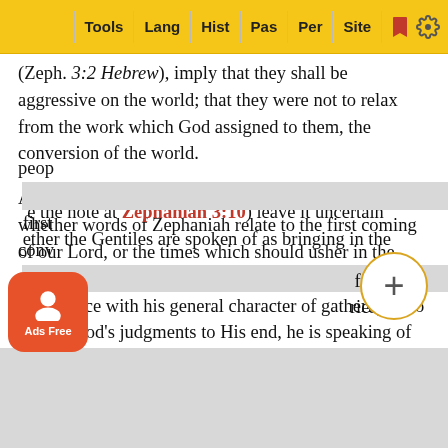Tools | Lang | Hist | Pas | Per | Site
(Zeph. 3:2 Hebrew), imply that they shall be aggressive on the world; that they were not to relax from the work which God assigned to them, the conversion of the world.
An allusion to the prophet Joel makes it uncertain whether words of Zephaniah relate to the first coming of our Lord, or the times which should usher in the second coming, or to both in one; and so, whether, in accordance with his general character of gathering into one all God’s judgments to His end, he is speaking of the first restoration of the one purified language of faith and hope, when “the multitude of them that believed were of one heart and of one soul” Acts 4:32, or whether he had his mind fixed rather on the end, “when the fullness of the Gentiles shall come in” Romans 11:25. The words also (since they may be taken either way; see the note at Zephaniah 3:10) leave it uncertain whether the Gentiles are spoken of as bringing in the people of God (the first converts among the Gentiles), is big...
[Figure (screenshot): Ads Free button overlay (orange rounded square with person icon)]
[Figure (other): Plus (+) circular button overlay]